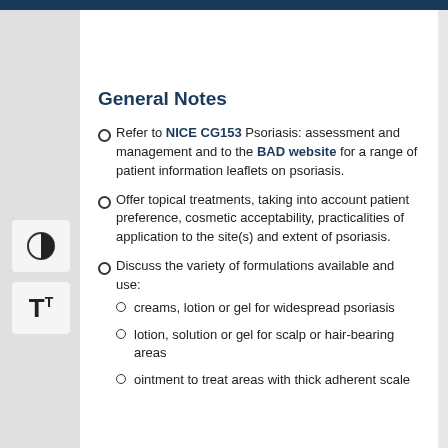General Notes
Refer to NICE CG153 Psoriasis: assessment and management and to the BAD website for a range of patient information leaflets on psoriasis.
Offer topical treatments, taking into account patient preference, cosmetic acceptability, practicalities of application to the site(s) and extent of psoriasis.
Discuss the variety of formulations available and use:
creams, lotion or gel for widespread psoriasis
lotion, solution or gel for scalp or hair-bearing areas
ointment to treat areas with thick adherent scale